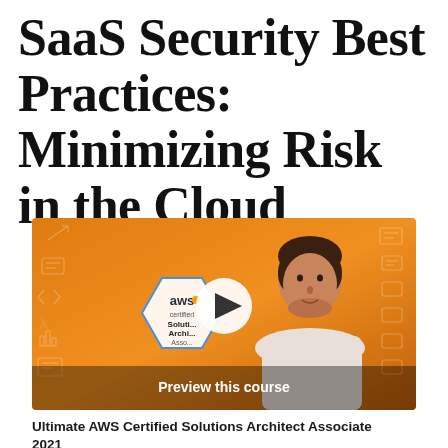SaaS Security Best Practices: Minimizing Risk in the Cloud
[Figure (screenshot): Video thumbnail showing a man in front of an orange background with AWS Certified Solutions Architect Associate badge/hexagon logo visible. A white play button circle is centered on the image. Text at the bottom reads 'Preview this course'.]
Ultimate AWS Certified Solutions Architect Associate 2021